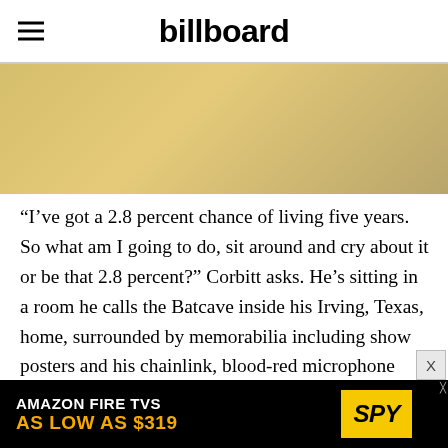billboard
[Figure (other): Dark/gold toned image area placeholder beneath the header]
“I’ve got a 2.8 percent chance of living five years. So what am I going to do, sit around and cry about it or be that 2.8 percent?” Corbitt asks. He’s sitting in a room he calls the Batcave inside his Irving, Texas, home, surrounded by memorabilia including show posters and his chainlink, blood-red microphone stand. “There’s got to be a lottery winner for every fucking lottery they do. s
[Figure (screenshot): Advertisement banner: AMAZON FIRE TVS AS LOW AS $319 with SPY logo on yellow background]